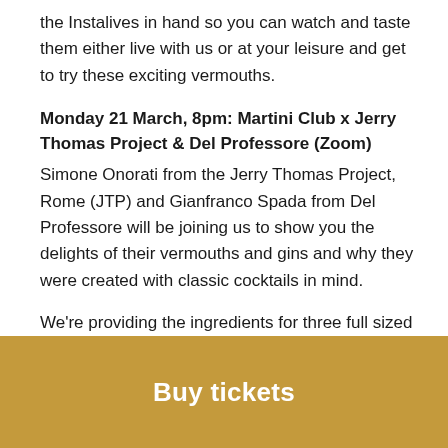the Instalives in hand so you can watch and taste them either live with us or at your leisure and get to try these exciting vermouths.
Monday 21 March, 8pm: Martini Club x Jerry Thomas Project & Del Professore (Zoom)
Simone Onorati from the Jerry Thomas Project, Rome (JTP) and Gianfranco Spada from Del Professore will be joining us to show you the delights of their vermouths and gins and why they were created with classic cocktails in mind.
We're providing the ingredients for three full sized drinks for you to create alongside Simone, and they are:
1. Gibson: Del Professore Fighting Bear Gin & Pickled
Buy tickets